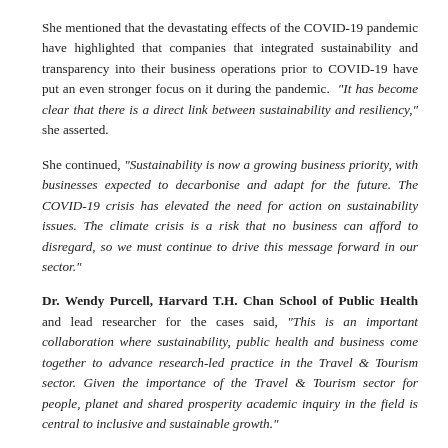She mentioned that the devastating effects of the COVID-19 pandemic have highlighted that companies that integrated sustainability and transparency into their business operations prior to COVID-19 have put an even stronger focus on it during the pandemic. "It has become clear that there is a direct link between sustainability and resiliency," she asserted.
She continued, "Sustainability is now a growing business priority, with businesses expected to decarbonise and adapt for the future. The COVID-19 crisis has elevated the need for action on sustainability issues. The climate crisis is a risk that no business can afford to disregard, so we must continue to drive this message forward in our sector."
Dr. Wendy Purcell, Harvard T.H. Chan School of Public Health and lead researcher for the cases said, "This is an important collaboration where sustainability, public health and business come together to advance research-led practice in the Travel & Tourism sector. Given the importance of the Travel & Tourism sector for people, planet and shared prosperity academic inquiry in the field is central to inclusive and sustainable growth."